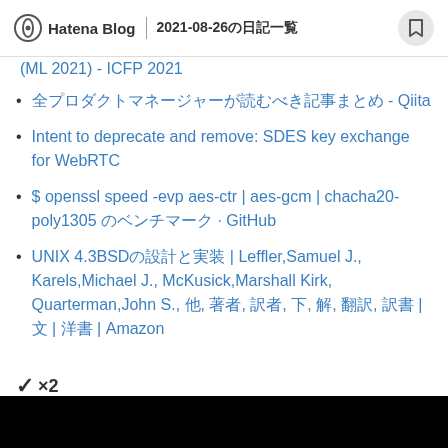Hatena Blog | 2021-08-26の日記一覧
(ML 2021) - ICFP 2021
全プロダクトマネージャーが読むべき記事まとめ - Qiita
Intent to deprecate and remove: SDES key exchange for WebRTC
$ openssl speed -evp aes-ctr | aes-gcm | chacha20-poly1305 のベンチマーク · GitHub
UNIX 4.3BSDの設計と実装 | Leffler,Samuel J., Karels,Michael J., McKusick,Marshall Kirk, Quarterman,John S., 他, 著者, 訳者, 下, 解, 翻訳, 訳書 |文 | 洋書 | Amazon
✓×2